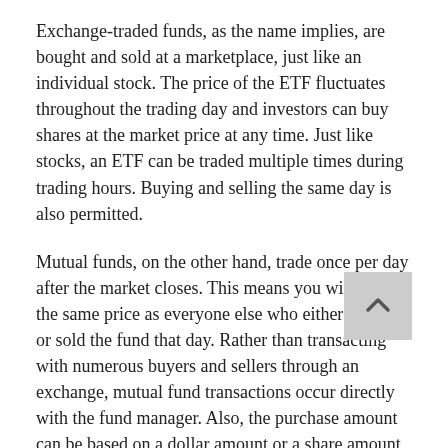Exchange-traded funds, as the name implies, are bought and sold at a marketplace, just like an individual stock. The price of the ETF fluctuates throughout the trading day and investors can buy shares at the market price at any time. Just like stocks, an ETF can be traded multiple times during trading hours. Buying and selling the same day is also permitted.
Mutual funds, on the other hand, trade once per day after the market closes. This means you will receive the same price as everyone else who either bought or sold the fund that day. Rather than transacting with numerous buyers and sellers through an exchange, mutual fund transactions occur directly with the fund manager. Also, the purchase amount can be based on a dollar amount or a share amount (ETF's must be purchased in shares).
Another difference between ETF's and mutual funds is the investment minimums.